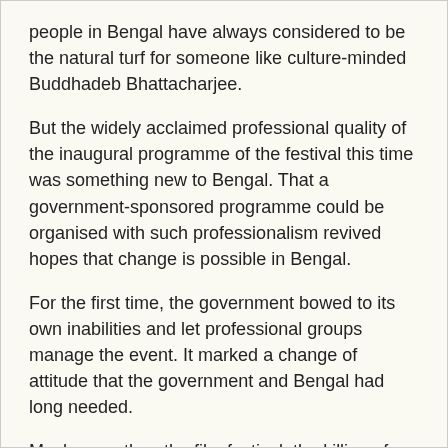people in Bengal have always considered to be the natural turf for someone like culture-minded Buddhadeb Bhattacharjee.
But the widely acclaimed professional quality of the inaugural programme of the festival this time was something new to Bengal. That a government-sponsored programme could be organised with such professionalism revived hopes that change is possible in Bengal.
For the first time, the government bowed to its own inabilities and let professional groups manage the event. It marked a change of attitude that the government and Bengal had long needed.
Much more than the film festival, the killing of Kishan in a battle in Jungle Mahal showed that Mamata can change herself to facilitate the change she promises.